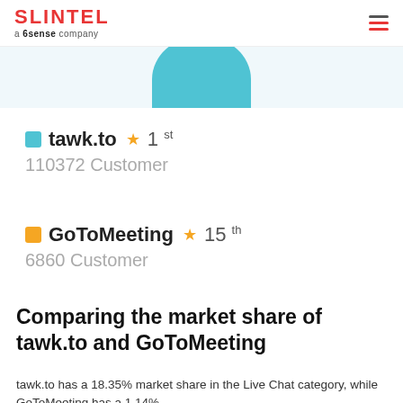SLINTEL a 6sense company
[Figure (other): Teal semi-circle graphic representing tawk.to chart element at top of page]
tawk.to ★ 1st
110372 Customer
GoToMeeting ★ 15th
6860 Customer
Comparing the market share of tawk.to and GoToMeeting
tawk.to has a 18.35% market share in the Live Chat category, while GoToMeeting has a 1.14%